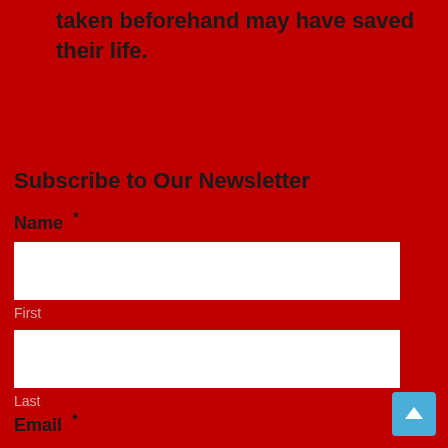taken beforehand may have saved their life.
Subscribe to Our Newsletter
Name *
First
Last
Email *